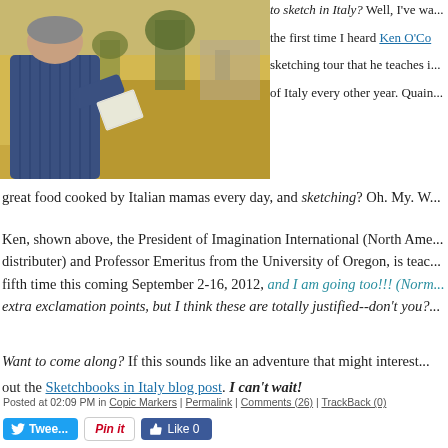[Figure (photo): Photo of a man sketching outdoors in a grassy field, viewed from behind, wearing a blue striped shirt]
to sketch in Italy? Well, I've wa... the first time I heard Ken O'Co... sketching tour that he teaches i... of Italy every other year. Quain...
great food cooked by Italian mamas every day, and sketching? Oh. My. W...
Ken, shown above, the President of Imagination International (North Ame... distributer) and Professor Emeritus from the University of Oregon, is teac... fifth time this coming September 2-16, 2012, and I am going too!!! (Norm... extra exclamation points, but I think these are totally justified--don't you?...
Want to come along? If this sounds like an adventure that might interest... out the Sketchbooks in Italy blog post. I can't wait!
Posted at 02:09 PM in Copic Markers | Permalink | Comments (26) | TrackBack (0)
Tweet | Pin it | Like 0